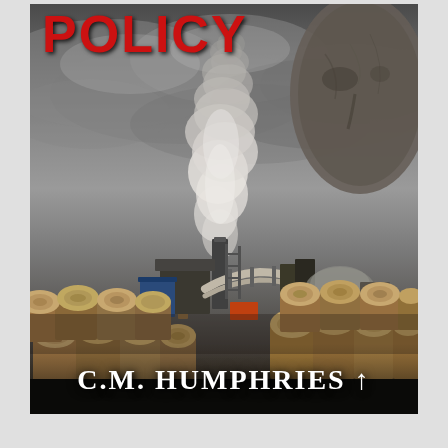[Figure (illustration): Book cover image showing an industrial facility (lumber mill/paper mill) with a large smoke stack emitting a white smoke plume against a dramatic dark cloudy sky. Piles of logs are visible in the foreground on both left and right sides. In the upper right corner, a close-up of a face (likely a man) is partially visible. The top of the cover shows the partial title text 'POLICY' in large red letters, and the bottom shows the author name 'C.M. HUMPHRIES' with an upward arrow in white serif text.]